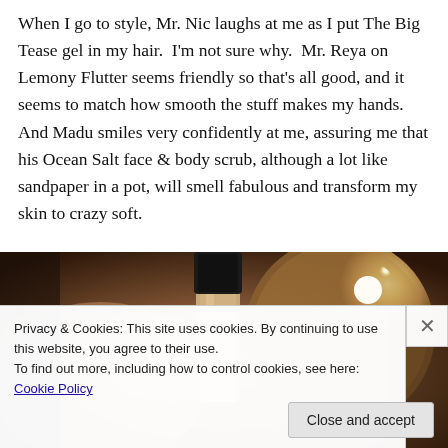When I go to style, Mr. Nic laughs at me as I put The Big Tease gel in my hair.  I'm not sure why.  Mr. Reya on Lemony Flutter seems friendly so that's all good, and it seems to match how smooth the stuff makes my hands.  And Madu smiles very confidently at me, assuring me that his Ocean Salt face & body scrub, although a lot like sandpaper in a pot, will smell fabulous and transform my skin to crazy soft.
[Figure (photo): A photograph showing a hand holding a bottle with a black cap, in front of a circular mirror, with warm ambient lighting in a bathroom setting.]
Privacy & Cookies: This site uses cookies. By continuing to use this website, you agree to their use.
To find out more, including how to control cookies, see here: Cookie Policy
Close and accept